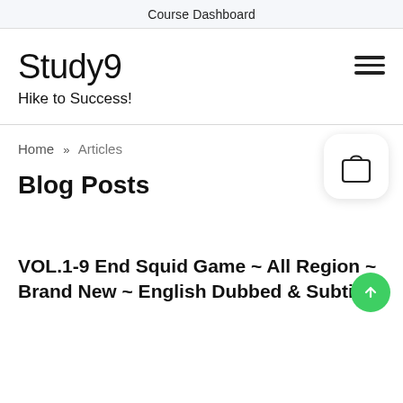Course Dashboard
Study9
Hike to Success!
Home » Articles
Blog Posts
VOL.1-9 End Squid Game ~ All Region ~ Brand New ~ English Dubbed & Subtitle